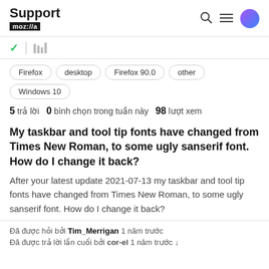Support mozilla // a
Firefox  desktop  Firefox 90.0  other  Windows 10
5 trả lời  0 bình chọn trong tuần này  98 lượt xem
My taskbar and tool tip fonts have changed from Times New Roman, to some ugly sanserif font. How do I change it back?
After your latest update 2021-07-13 my taskbar and tool tip fonts have changed from Times New Roman, to some ugly sanserif font. How do I change it back?
Đã được hỏi bởi Tim_Merrigan 1 năm trước